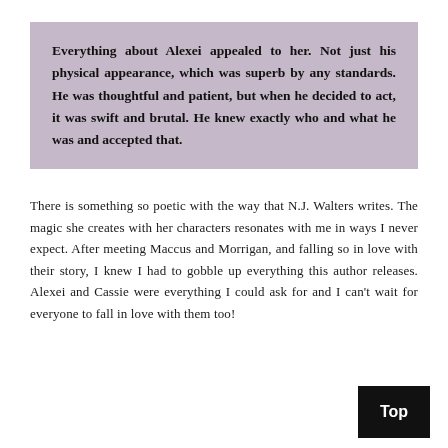Everything about Alexei appealed to her. Not just his physical appearance, which was superb by any standards. He was thoughtful and patient, but when he decided to act, it was swift and brutal. He knew exactly who and what he was and accepted that.
There is something so poetic with the way that N.J. Walters writes. The magic she creates with her characters resonates with me in ways I never expect. After meeting Maccus and Morrigan, and falling so in love with their story, I knew I had to gobble up everything this author releases. Alexei and Cassie were everything I could ask for and I can't wait for everyone to fall in love with them too!